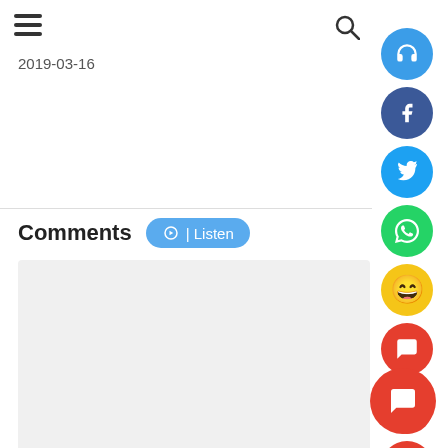2019-03-16
Comments
Be the first to comment
TALK OF THE TOWN
Yuzvendra Chahal posts c... message as Dhanashree